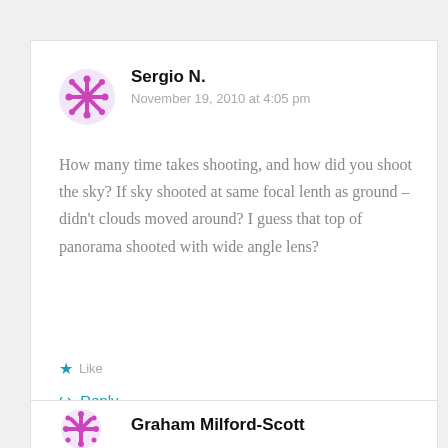[Figure (illustration): Purple/magenta snowflake avatar icon for user Sergio N.]
Sergio N.
November 19, 2010 at 4:05 pm
How many time takes shooting, and how did you shoot the sky? If sky shooted at same focal lenth as ground – didn't clouds moved around? I guess that top of panorama shooted with wide angle lens?
Like
Reply
[Figure (illustration): Purple/magenta snowflake avatar icon for user Graham Milford-Scott.]
Graham Milford-Scott